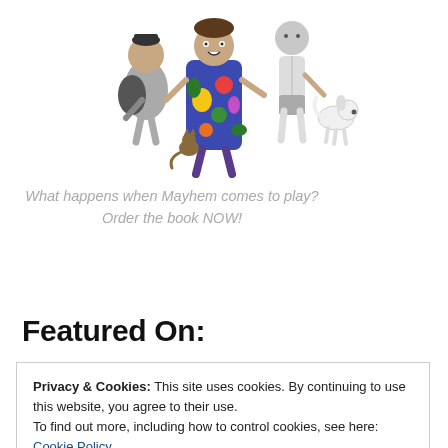[Figure (illustration): Cartoon illustration of children and a dog, with a colorful character in the center holding a book, a child with a backpack on the left, a tall child on the right, and a small white dog.]
What happens when Mayhem comes to play? Order the book NOW!
Featured On:
Privacy & Cookies: This site uses cookies. By continuing to use this website, you agree to their use.
To find out more, including how to control cookies, see here: Cookie Policy
Close and accept